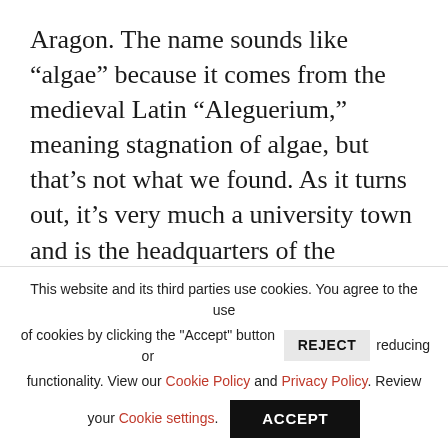Aragon. The name sounds like “algae” because it comes from the medieval Latin “Aleguerium,” meaning stagnation of algae, but that’s not what we found. As it turns out, it’s very much a university town and is the headquarters of the Università degli Studi di Sassari’s Architecture and Design department as well as being the 10th most touristed city in Italy.
We discovered a bevy of wonderfully
This website and its third parties use cookies. You agree to the use of cookies by clicking the "Accept" button or REJECT reducing functionality. View our Cookie Policy and Privacy Policy. Review your Cookie settings. ACCEPT